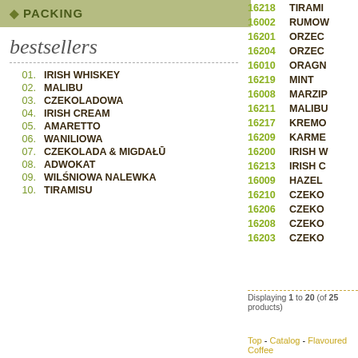• PACKING
bestsellers
01. IRISH WHISKEY
02. MALIBU
03. CZEKOLADOWA
04. IRISH CREAM
05. AMARETTO
06. WANILIOWA
07. CZEKOLADA & MIGDAŁ
08. ADWOKAT
09. WIŚNIOWA NALEWKA
10. TIRAMISU
16218 TIRAMI
16002 RUMOW
16201 ORZEC
16204 ORZEC
16010 ORAGN
16219 MINT
16008 MARZIP
16211 MALIBU
16217 KREMO
16209 KARME
16200 IRISH W
16213 IRISH C
16009 HAZEL
16210 CZEKO
16206 CZEKO
16208 CZEKO
16203 CZEKO
Displaying 1 to 20 (of 25 products)
Top - Catalog - Flavoured Coffee